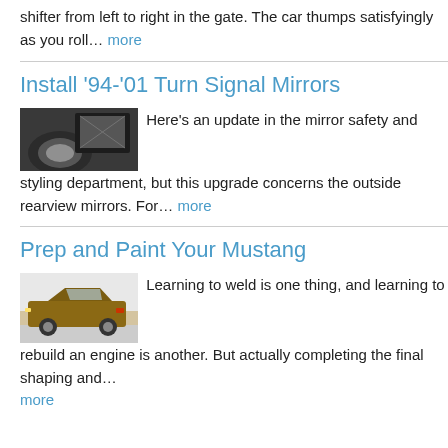shifter from left to right in the gate. The car thumps satisfyingly as you roll… more
Install '94-'01 Turn Signal Mirrors
[Figure (photo): Black and white photo of a car mirror/wheel area]
Here's an update in the mirror safety and styling department, but this upgrade concerns the outside rearview mirrors. For… more
Prep and Paint Your Mustang
[Figure (photo): Color photo of a brown/gold classic Mustang car from the rear three-quarter view]
Learning to weld is one thing, and learning to rebuild an engine is another. But actually completing the final shaping and… more